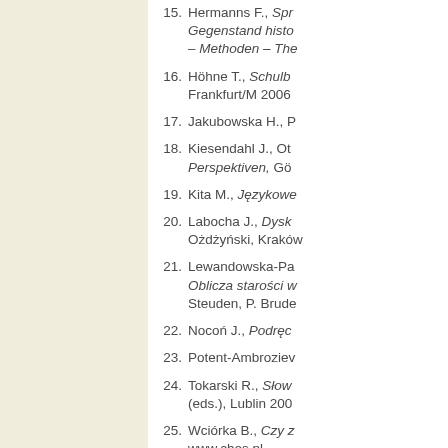15. Hermanns F., Sprache – Gegenstand historischer – Methoden – The
16. Höhne T., Schulb Frankfurt/M 2006
17. Jakubowska H., P
18. Kiesendahl J., Ot Perspektiven, Gö
19. Kita M., Językowe
20. Labocha J., Dysk Ożdżyński, Kraków
21. Lewandowska-Pa Oblicza starości w Steuden, P. Brude
22. Nocoń J., Podręc
23. Potent-Ambroziev
24. Tokarski R., Słow (eds.), Lublin 200
25. Wciórka B., Czy z www.chos.pl